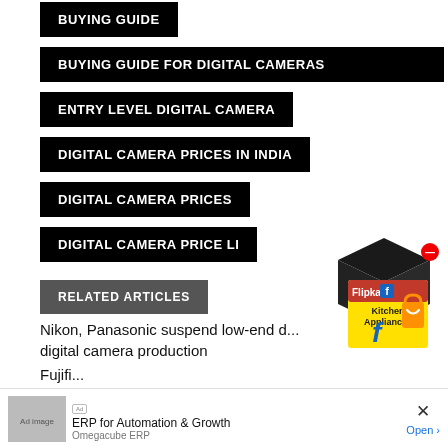BUYING GUIDE
BUYING GUIDE FOR DIGITAL CAMERAS
ENTRY LEVEL DIGITAL CAMERA
DIGITAL CAMERA PRICES IN INDIA
DIGITAL CAMERA PRICES
DIGITAL CAMERA PRICE LI
RELATED ARTICLES
Nikon, Panasonic suspend low-end digital camera production
Fujifi...
[Figure (illustration): Flipkart Kitchen Appliances promotional box with Flipkart logo and shopping bag icon]
ERP for Automation & Growth
Omegacube ERP
Open